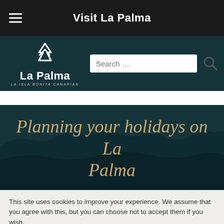Visit La Palma
[Figure (logo): La Palma logo with mountain/arrow icon, text 'La Palma' and subtitle 'La Isla Bonita CANARIAS', with search bar]
[Figure (photo): Dark teal hero image with landscape silhouette and script text 'Planning your holidays on La Palma']
Planning your holidays on La Palma
This site uses cookies to improve your experience. We assume that you agree with this, but you can choose not to accept them if you wish.
Cookies Settings  Yes  No